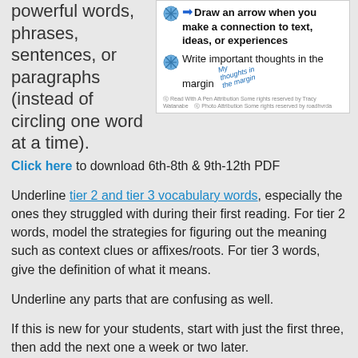powerful words, phrases, sentences, or paragraphs (instead of circling one word at a time).
Draw an arrow when you make a connection to text, ideas, or experiences
Write important thoughts in the margin
Click here to download 6th-8th & 9th-12th PDF
Underline tier 2 and tier 3 vocabulary words, especially the ones they struggled with during their first reading. For tier 2 words, model the strategies for figuring out the meaning such as context clues or affixes/roots. For tier 3 words, give the definition of what it means.
Underline any parts that are confusing as well.
If this is new for your students, start with just the first three, then add the next one a week or two later.